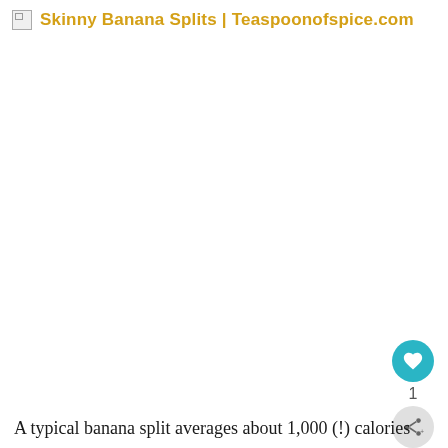Skinny Banana Splits | Teaspoonofspice.com
[Figure (photo): Large white/blank image area (image failed to load), with a broken image icon in the top-left header area]
A typical banana split averages about 1,000 (!) calories